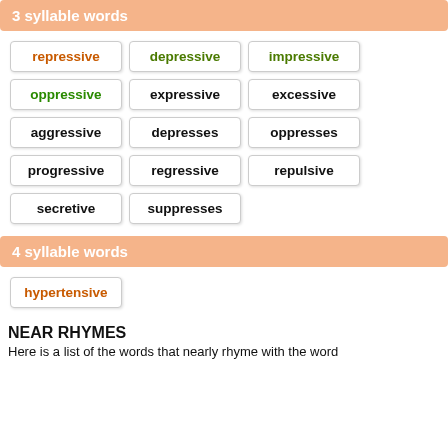3 syllable words
repressive
depressive
impressive
oppressive
expressive
excessive
aggressive
depresses
oppresses
progressive
regressive
repulsive
secretive
suppresses
4 syllable words
hypertensive
NEAR RHYMES
Here is a list of the words that nearly rhyme with the word